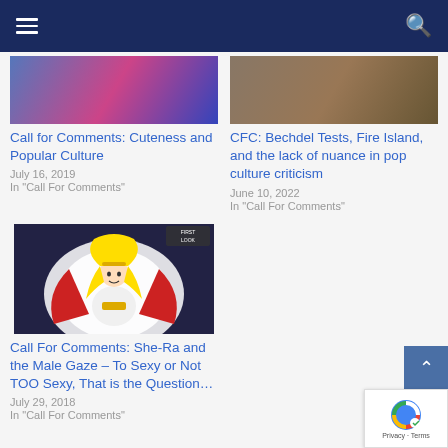Navigation bar with hamburger menu and search icon
[Figure (screenshot): Top-left article thumbnail image]
Call for Comments: Cuteness and Popular Culture
July 16, 2019
In "Call For Comments"
[Figure (screenshot): Top-right article thumbnail image]
CFC: Bechdel Tests, Fire Island, and the lack of nuance in pop culture criticism
June 10, 2022
In "Call For Comments"
[Figure (illustration): She-Ra animated character illustration with golden hair, red cape, glowing white aura]
Call For Comments: She-Ra and the Male Gaze – To Sexy or Not TOO Sexy, That is the Question…
July 29, 2018
In "Call For Comments"